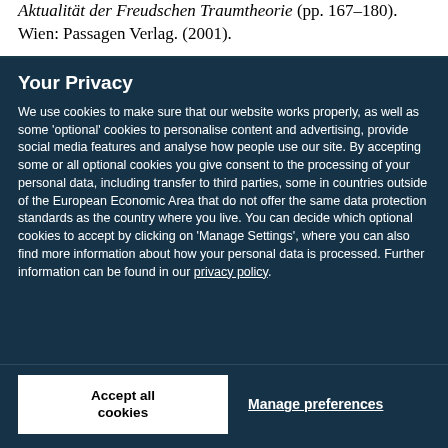Aktualität der Freudschen Traumtheorie (pp. 167–180). Wien: Passagen Verlag. (2001).
Your Privacy
We use cookies to make sure that our website works properly, as well as some 'optional' cookies to personalise content and advertising, provide social media features and analyse how people use our site. By accepting some or all optional cookies you give consent to the processing of your personal data, including transfer to third parties, some in countries outside of the European Economic Area that do not offer the same data protection standards as the country where you live. You can decide which optional cookies to accept by clicking on 'Manage Settings', where you can also find more information about how your personal data is processed. Further information can be found in our privacy policy.
Accept all cookies
Manage preferences